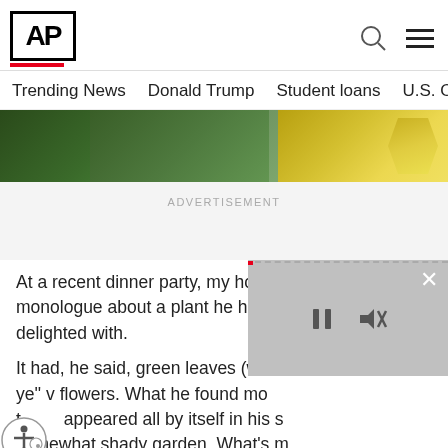AP
Trending News   Donald Trump   Student loans   U.S. Open Tenn
[Figure (photo): Close-up of green plant leaves with yellow flowers visible on the right side]
ADVERTISEMENT
At a recent dinner party, my host launched into a monologue about a plant he had di and was delighted with.
It had, he said, green leaves (what a ye'' v flowers. What he found mo t appeared all by itself in his s somewhat shady garden. What's m